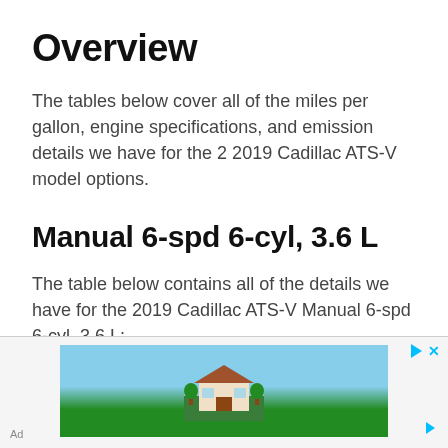Overview
The tables below cover all of the miles per gallon, engine specifications, and emission details we have for the 2 2019 Cadillac ATS-V model options.
Manual 6-spd 6-cyl, 3.6 L
The table below contains all of the details we have for the 2019 Cadillac ATS-V Manual 6-spd 6-cyl, 3.6 L: